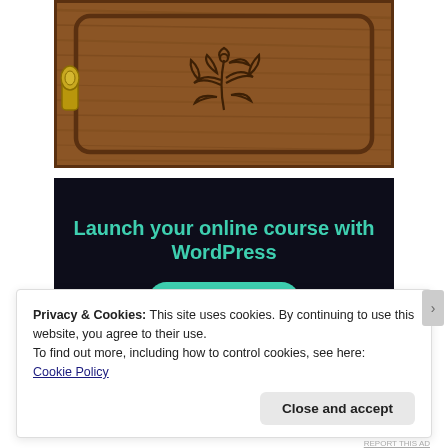[Figure (photo): Carved wooden cabinet door/panel with floral/leaf engraving in dark brown wood, with a brass handle visible on the left side]
[Figure (infographic): Dark navy/black advertisement banner with teal text reading 'Launch your online course with WordPress' and a teal 'Learn More' button]
Privacy & Cookies: This site uses cookies. By continuing to use this website, you agree to their use.
To find out more, including how to control cookies, see here:
Cookie Policy
Close and accept